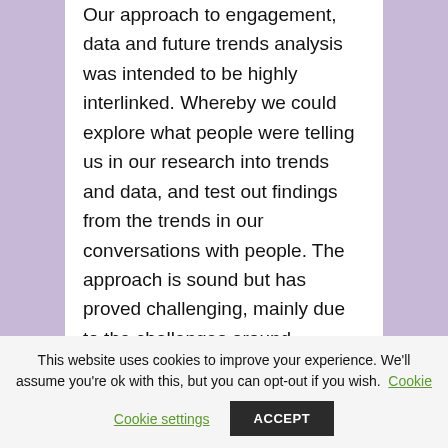Our approach to engagement, data and future trends analysis was intended to be highly interlinked. Whereby we could explore what people were telling us in our research into trends and data, and test out findings from the trends in our conversations with people. The approach is sound but has proved challenging, mainly due to the challenges around engagement during the Covid-19 pandemic (see
This website uses cookies to improve your experience. We'll assume you're ok with this, but you can opt-out if you wish. Cookie settings ACCEPT